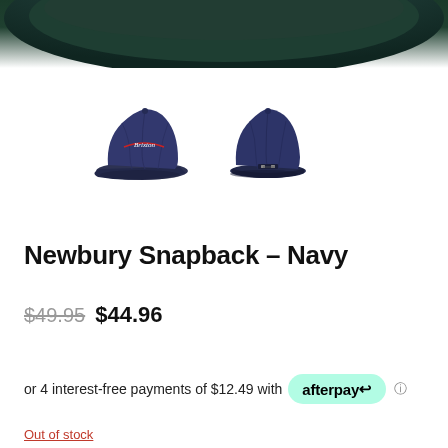[Figure (photo): Top portion of a dark green/navy snapback cap, cropped at top of page]
[Figure (photo): Two thumbnail views of a navy Brixton Newbury Snapback cap — front view (left) and back view (right)]
Newbury Snapback – Navy
$49.95  $44.96
or 4 interest-free payments of $12.49 with afterpay
Out of stock